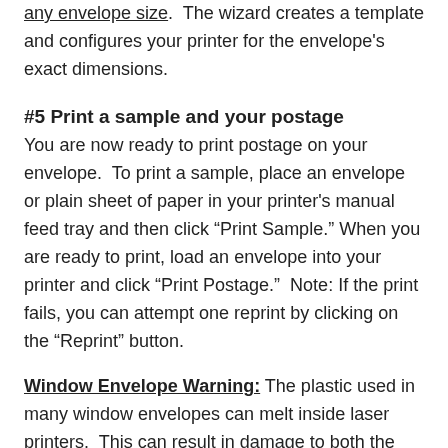any envelope size. The wizard creates a template and configures your printer for the envelope's exact dimensions.
#5 Print a sample and your postage
You are now ready to print postage on your envelope. To print a sample, place an envelope or plain sheet of paper in your printer's manual feed tray and then click “Print Sample.” When you are ready to print, load an envelope into your printer and click “Print Postage.” Note: If the print fails, you can attempt one reprint by clicking on the “Reprint” button.
Window Envelope Warning: The plastic used in many window envelopes can melt inside laser printers. This can result in damage to both the envelope and potentially to the printer. MAKE SURE that your